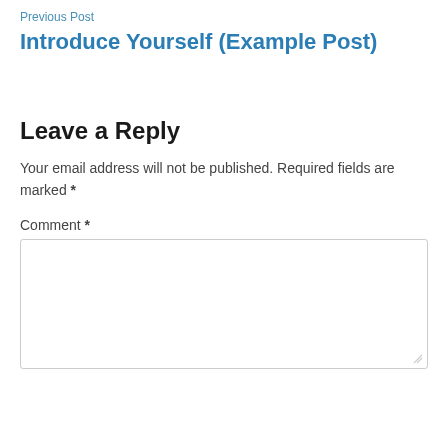Previous Post
Introduce Yourself (Example Post)
Leave a Reply
Your email address will not be published. Required fields are marked *
Comment *